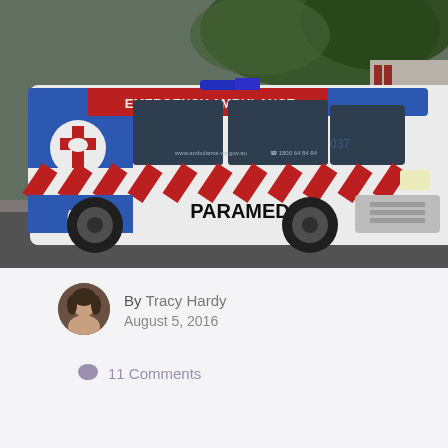[Figure (photo): An Australian Emergency Ambulance (Paramedic vehicle, Victoria, number 037) parked on a street. White van with red and blue markings, diagonal red/white hazard stripes, 'EMERGENCY AMBULANCE' text on top, 'PARAMEDIC' on the side, '(000' emergency number, '1800 64 84 84' and 'www.ambulance.vic.gov.au' visible. Trees and a NAB bank branch in background.]
By Tracy Hardy
August 5, 2016
11 Comments